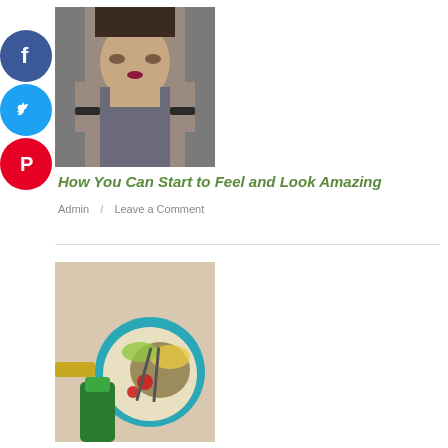[Figure (photo): Young woman with dark hair pulled back, heavy eye makeup and dark red lipstick, wearing a fur coat, posed looking at camera]
[Figure (illustration): Facebook circle icon - blue circle with white F]
[Figure (illustration): Twitter circle icon - blue circle with white bird]
[Figure (illustration): Pinterest circle icon - red circle with white P]
How You Can Start to Feel and Look Amazing
Admin  /  Leave a Comment
[Figure (photo): Overhead view of a colorful salad bowl with vegetables, black beans, corn, strawberries on a blue plate, hand visible holding it]